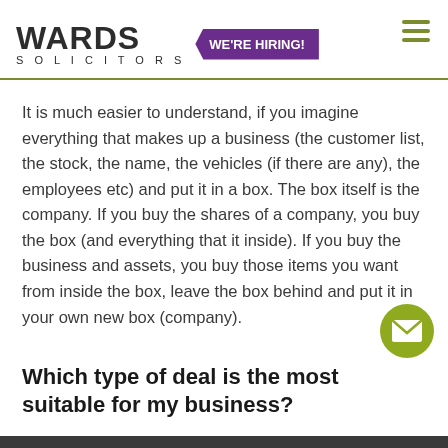WARDS SOLICITORS — WE'RE HIRING!
It is much easier to understand, if you imagine everything that makes up a business (the customer list, the stock, the name, the vehicles (if there are any), the employees etc) and put it in a box.  The box itself is the company.  If you buy the shares of a company, you buy the box (and everything that it inside).  If you buy the business and assets, you buy those items you want from inside the box, leave the box behind and put it in your own new box (company).
Which type of deal is the most suitable for my business?